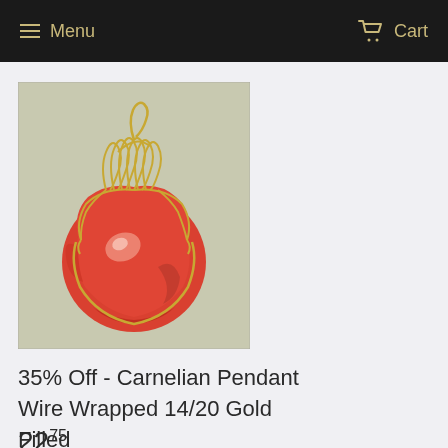Menu  Cart
[Figure (photo): A carnelian gemstone pendant wire wrapped with 14/20 gold filled wire, showing the orange-red stone held in a decorative gold wire cage setting with a loop bail at the top, photographed against a light background.]
35% Off - Carnelian Pendant Wire Wrapped 14/20 Gold Filled
22.75